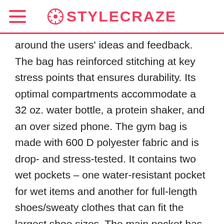STYLECRAZE
around the users' ideas and feedback. The bag has reinforced stitching at key stress points that ensures durability. Its optimal compartments accommodate a 32 oz. water bottle, a protein shaker, and an over sized phone. The gym bag is made with 600 D polyester fabric and is drop- and stress-tested. It contains two wet pockets – one water-resistant pocket for wet items and another for full-length shoes/sweaty clothes that can fit the largest shoe sizes. The main pocket has a wide mouth for easy access. It comes with a newly added water-resistant bottom panel. Additionally, the bag is available in two different sizes – small and medium. Watch a detailed review of this product in this video...